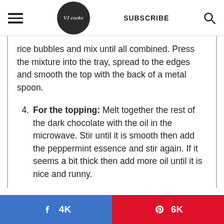VJ cooks | SUBSCRIBE
rice bubbles and mix until all combined. Press the mixture into the tray, spread to the edges and smooth the top with the back of a metal spoon.
4. For the topping: Melt together the rest of the dark chocolate with the oil in the microwave. Stir until it is smooth then add the peppermint essence and stir again. If it seems a bit thick then add more oil until it is nice and runny.
4K  6K